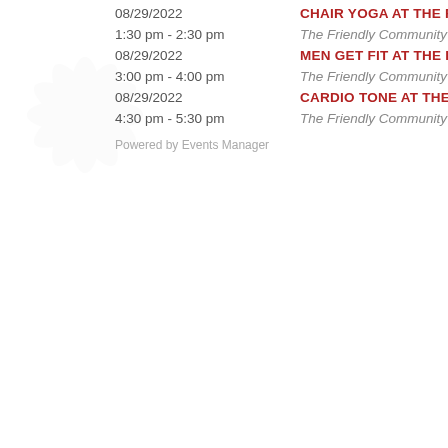08/29/2022 | CHAIR YOGA AT THE FCC
1:30 pm - 2:30 pm | The Friendly Community Ce...
08/29/2022 | MEN GET FIT AT THE FCC
3:00 pm - 4:00 pm | The Friendly Community Ce...
08/29/2022 | CARDIO TONE AT THE FCC
4:30 pm - 5:30 pm | The Friendly Community Ce...
Powered by Events Manager